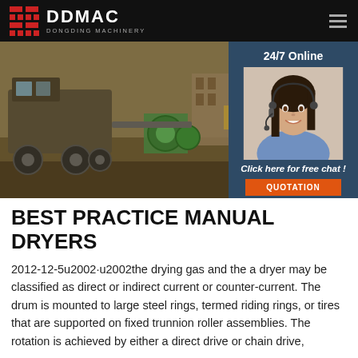DDMAC DONGDING MACHINERY
[Figure (photo): Construction site photo showing heavy machinery and equipment on dusty terrain with workers in background]
[Figure (photo): Customer service agent woman wearing headset smiling, 24/7 Online panel with chat and quotation button]
BEST PRACTICE MANUAL DRYERS
2012-12-5u2002·u2002the drying gas and the a dryer may be classified as direct or indirect current or counter-current. The drum is mounted to large steel rings, termed riding rings, or tires that are supported on fixed trunnion roller assemblies. The rotation is achieved by either a direct drive or chain drive,